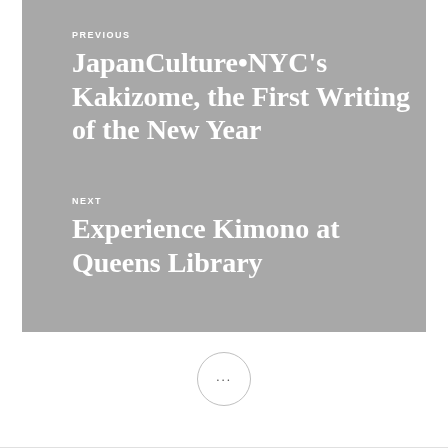PREVIOUS
JapanCulture•NYC's Kakizome, the First Writing of the New Year
NEXT
Experience Kimono at Queens Library
[Figure (other): A circular button with three dots (ellipsis) indicating more content]